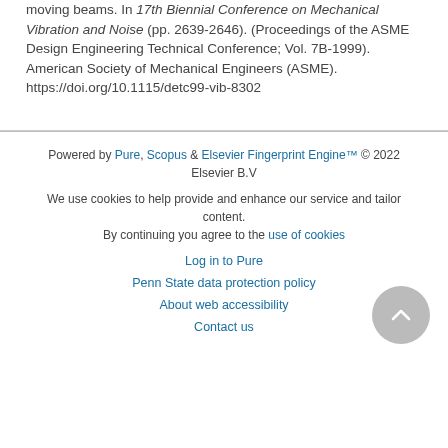moving beams. In 17th Biennial Conference on Mechanical Vibration and Noise (pp. 2639-2646). (Proceedings of the ASME Design Engineering Technical Conference; Vol. 7B-1999). American Society of Mechanical Engineers (ASME). https://doi.org/10.1115/detc99-vib-8302
Powered by Pure, Scopus & Elsevier Fingerprint Engine™ © 2022 Elsevier B.V
We use cookies to help provide and enhance our service and tailor content. By continuing you agree to the use of cookies
Log in to Pure
Penn State data protection policy
About web accessibility
Contact us